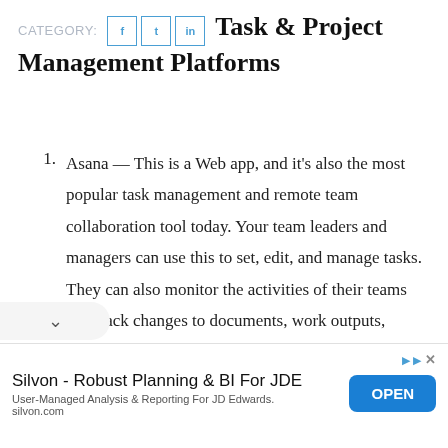CATEGORY: Task & Project Management Platforms
Asana — This is a Web app, and it's also the most popular task management and remote team collaboration tool today. Your team leaders and managers can use this to set, edit, and manage tasks. They can also monitor the activities of their teams and track changes to documents, work outputs,
Silvon - Robust Planning & BI For JDE
User-Managed Analysis & Reporting For JD Edwards.
silvon.com